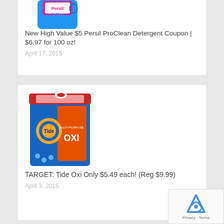[Figure (photo): Top portion of a Persil ProClean detergent bottle in blue with pink label, partially cropped at top]
New High Value $5 Persil ProClean Detergent Coupon | $6.97 for 100 oz!
April 17, 2015
[Figure (photo): Tide OXI Multi-Purpose detergent container, blue and orange with red lid]
TARGET: Tide Oxi Only $5.49 each! (Reg $9.99)
April 3, 2015